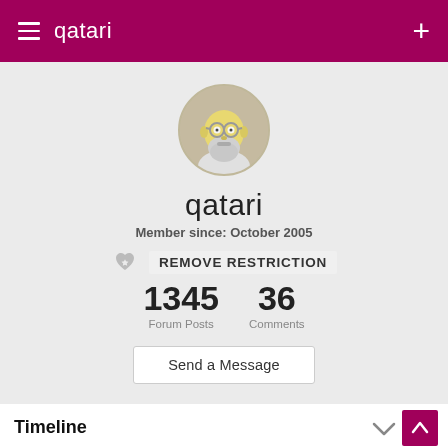qatari
[Figure (illustration): Circular avatar showing a cartoon old man with yellow head and grey beard, resembling a Simpsons character]
qatari
Member since: October 2005
REMOVE RESTRICTION
1345
Forum Posts
36
Comments
Send a Message
Timeline
Qatari hasn't posted anything yet.